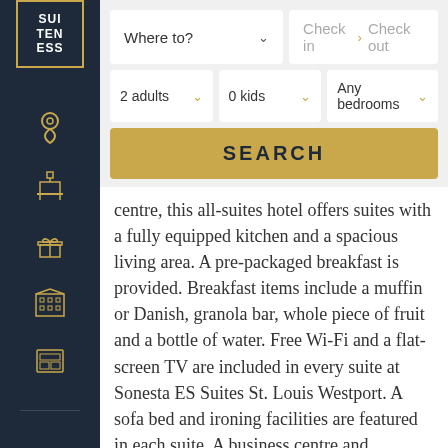[Figure (logo): SUITENESS logo - white text on dark navy background with gold border]
Where to?
Check in > Check out
2 adults
0 kids
Any bedrooms
SEARCH
centre, this all-suites hotel offers suites with a fully equipped kitchen and a spacious living area. A pre-packaged breakfast is provided. Breakfast items include a muffin or Danish, granola bar, whole piece of fruit and a bottle of water. Free Wi-Fi and a flat-screen TV are included in every suite at Sonesta ES Suites St. Louis Westport. A sofa bed and ironing facilities are featured in each suite. A business centre and launderette are also available on the property for guest convenience. Creve Coeur Golf Club is 8 minutes' drive from this hotel. Popular St. Louis landmarks such as: